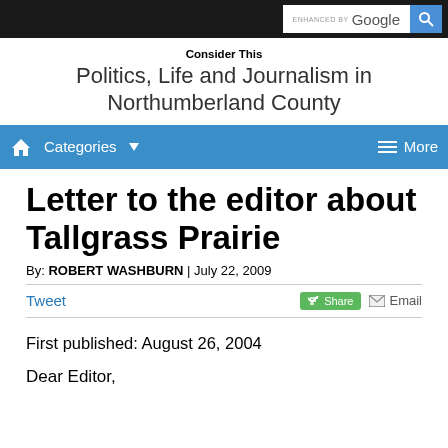ENHANCED BY Google [search bar]
Consider This
Politics, Life and Journalism in Northumberland County
Categories  More
Letter to the editor about Tallgrass Prairie
By: ROBERT WASHBURN | July 22, 2009
Tweet  Share  Email
First published: August 26, 2004
Dear Editor,